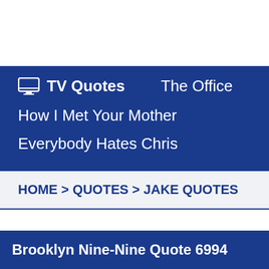TV Quotes   The Office   How I Met Your Mother   Everybody Hates Chris
HOME > QUOTES > JAKE QUOTES
Brooklyn Nine-Nine Quote 6994